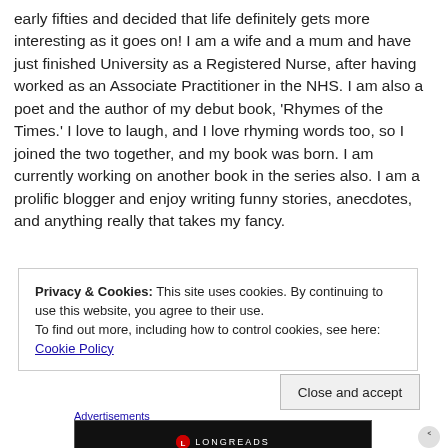early fifties and decided that life definitely gets more interesting as it goes on! I am a wife and a mum and have just finished University as a Registered Nurse, after having worked as an Associate Practitioner in the NHS. I am also a poet and the author of my debut book, 'Rhymes of the Times.' I love to laugh, and I love rhyming words too, so I joined the two together, and my book was born. I am currently working on another book in the series also. I am a prolific blogger and enjoy writing funny stories, anecdotes, and anything really that takes my fancy.
Privacy & Cookies: This site uses cookies. By continuing to use this website, you agree to their use. To find out more, including how to control cookies, see here: Cookie Policy
Close and accept
Advertisements
[Figure (other): Longreads banner advertisement with dark background. Shows Longreads logo (red circle with L) and tagline 'Read anything great lately?']